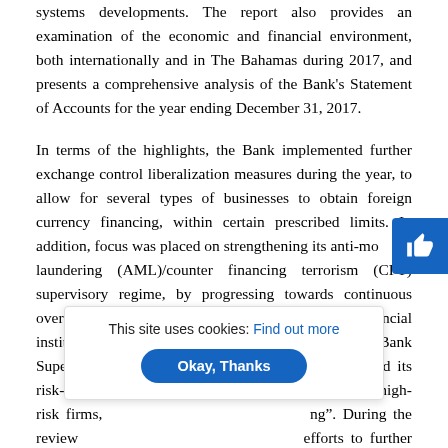systems developments. The report also provides an examination of the economic and financial environment, both internationally and in The Bahamas during 2017, and presents a comprehensive analysis of the Bank's Statement of Accounts for the year ending December 31, 2017.
In terms of the highlights, the Bank implemented further exchange control liberalization measures during the year, to allow for several types of businesses to obtain foreign currency financing, within certain prescribed limits. In addition, focus was placed on strengthening its anti-money laundering (AML)/counter financing terrorism (CFT) supervisory regime, by progressing towards continuous oversight of AML/CFT systems in supervised financial institutions, and by creating an Analytics Unit in the Bank Supervision Department. In addition, the Bank refined its risk-based supervisory framework to target specific high-risk firms, [obscured] ng". During the review [obscured] efforts to further m[obscured] e the country,